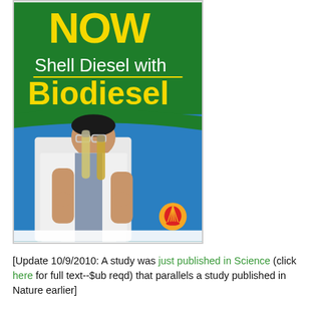[Figure (photo): Shell Diesel with Biodiesel advertisement banner. Green background at top with yellow text 'NOW' and white text 'Shell Diesel with' and yellow bold text 'Biodiesel'. Below is a blue background with a man in a white lab coat holding two test tubes containing yellow liquid. Shell logo (orange scallop shell) visible at bottom right of banner.]
[Update 10/9/2010: A study was just published in Science (click here for full text--$ub reqd) that parallels a study published in Nature earlier]